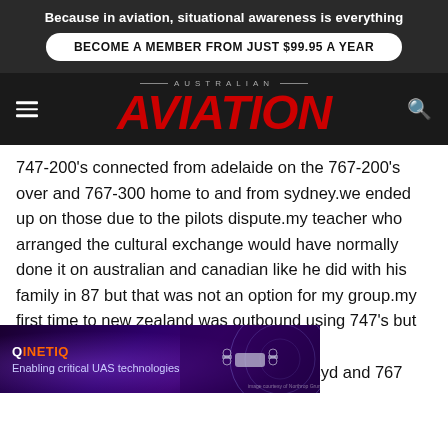Because in aviation, situational awareness is everything
BECOME A MEMBER FROM JUST $99.95 A YEAR
AUSTRALIAN AVIATION
747-200's connected from adelaide on the 767-200's over and 767-300 home to and from sydney.we ended up on those due to the pilots dispute.my teacher who arranged the cultural exchange would have normally done it on australian and canadian like he did with his family in 87 but that was not an option for my group.my first time to new zealand was outbound using 747's but coming home was 767's and to bali was 76... 37 adl-syd and 767 syd-adl did hong kong in 2002 and a
[Figure (screenshot): QinetiQ advertisement banner: 'Enabling critical UAS technologies' with purple/dark background and drone imagery]